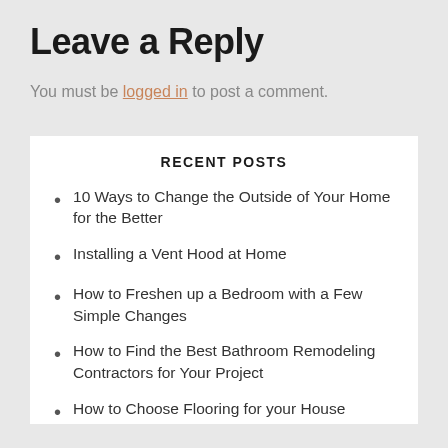Leave a Reply
You must be logged in to post a comment.
RECENT POSTS
10 Ways to Change the Outside of Your Home for the Better
Installing a Vent Hood at Home
How to Freshen up a Bedroom with a Few Simple Changes
How to Find the Best Bathroom Remodeling Contractors for Your Project
How to Choose Flooring for your House